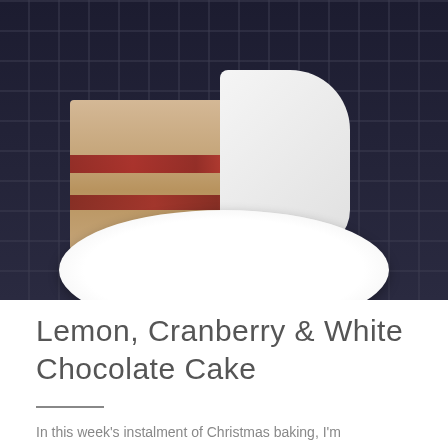[Figure (photo): A slice of lemon, cranberry and white chocolate layer cake on a white plate, set on a dark navy checkered tablecloth. The cake shows pale sponge layers with red cranberry filling and white frosting on the outside.]
Lemon, Cranberry & White Chocolate Cake
In this week's instalment of Christmas baking, I'm